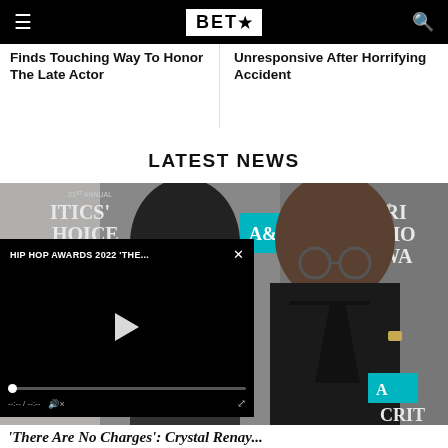BET★
Finds Touching Way To Honor The Late Actor
Unresponsive After Horrifying Accident
LATEST NEWS
[Figure (photo): Two people posing at the 21st Annual Critics Choice Awards — a woman with a black bob hairstyle and a bald man in a suit making a peace sign, with a video player overlay showing 'HIP HOP AWARDS 2022 'THE...']
'There Are No Charges': Crystal Renay...